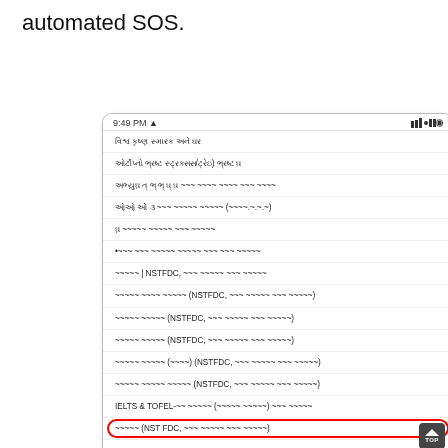automated SOS.
[Figure (screenshot): Android smartphone screenshot showing a menu list with Gujarati text items, one item highlighted with a red oval outline. Status bar at top shows 9:49 PM. Navigation bar at bottom with square, circle, and back arrow buttons. A 'TOP' button appears in the bottom-right of the content area.]